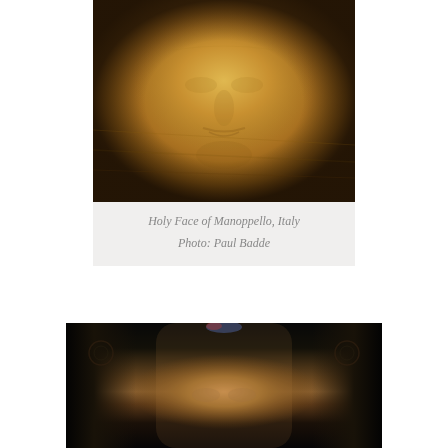[Figure (photo): Photo of the Holy Face of Manoppello, Italy — a golden-brown image showing a face with subtle features including nose, lips, and beard on aged cloth or panel. The image has a warm amber/ochre tonality.]
Holy Face of Manoppello, Italy
Photo: Paul Badde
[Figure (photo): Partially cropped photograph showing what appears to be a face seen through or behind dark ornate frames or pillars in a dimly lit setting. A reddish-blue light is visible at the top. The image is dark with warm tones in the central face area.]